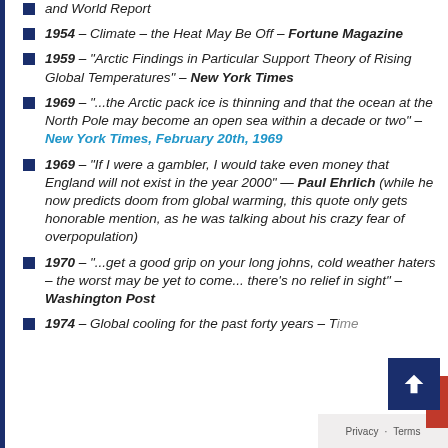and World Report
1954 – Climate – the Heat May Be Off – Fortune Magazine
1959 – "Arctic Findings in Particular Support Theory of Rising Global Temperatures" – New York Times
1969 – "...the Arctic pack ice is thinning and that the ocean at the North Pole may become an open sea within a decade or two" – New York Times, February 20th, 1969
1969 – "If I were a gambler, I would take even money that England will not exist in the year 2000" — Paul Ehrlich (while he now predicts doom from global warming, this quote only gets honorable mention, as he was talking about his crazy fear of overpopulation)
1970 – "...get a good grip on your long johns, cold weather haters – the worst may be yet to come... there's no relief in sight" – Washington Post
1974 – Global cooling for the past forty years – Time